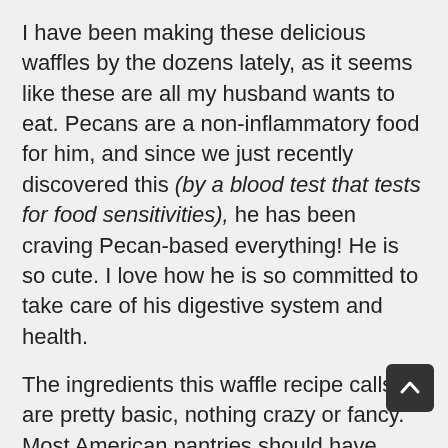I have been making these delicious waffles by the dozens lately, as it seems like these are all my husband wants to eat. Pecans are a non-inflammatory food for him, and since we just recently discovered this (by a blood test that tests for food sensitivities), he has been craving Pecan-based everything! He is so cute. I love how he is so committed to take care of his digestive system and health.
The ingredients this waffle recipe calls for are pretty basic, nothing crazy or fancy. Most American pantries should have these ingredients readily available...and if they don't, they are only one Trader Joe's or Whole Foods away! Gotta love healthy grocery stores. The only "tricky" ingredient could be the Pecan Milk, but since you already have my Pecan Milk recipe, you're good to go.
Hope you love these waffles as much as my honey does. He likes to top his with this yummy honey raspberry combo we both have been whipping up in seconds. All you